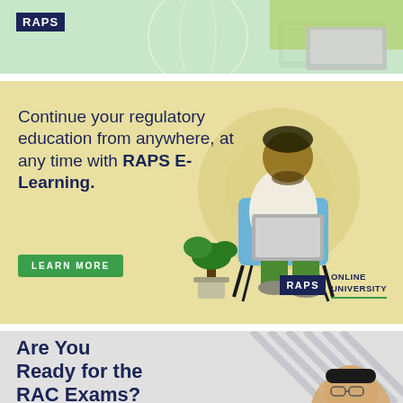[Figure (illustration): RAPS advertisement banner at top - green background with DNA helix graphic, person working on laptop, and RAPS logo in dark navy]
[Figure (illustration): RAPS E-Learning advertisement - yellow/tan background with illustrated person sitting in blue chair working on laptop with plant nearby, RAPS Online University logo, and Learn More button]
Continue your regulatory education from anywhere, at any time with RAPS E-Learning.
LEARN MORE
RAPS ONLINE UNIVERSITY
[Figure (illustration): RAC Exams advertisement - gray background with diagonal stripe pattern, text 'Are You Ready for the RAC Exams?' in dark navy bold, and face of smiling Asian man with glasses]